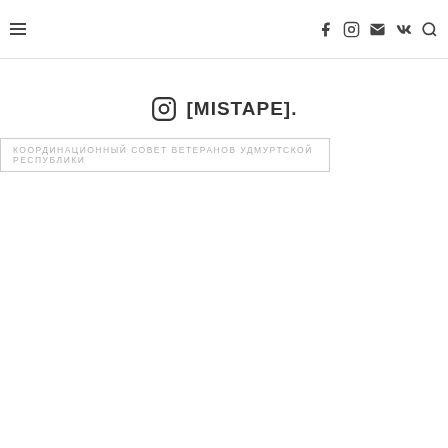≡  [social icons: Facebook, Instagram, Mail, VK, Search]
[MISTAPE].
КООРДИНАЦИОННЫЙ СОВЕТ ВЕТЕРАНОВ УДМУРТСКОЙ РЕСПУБЛИКИ